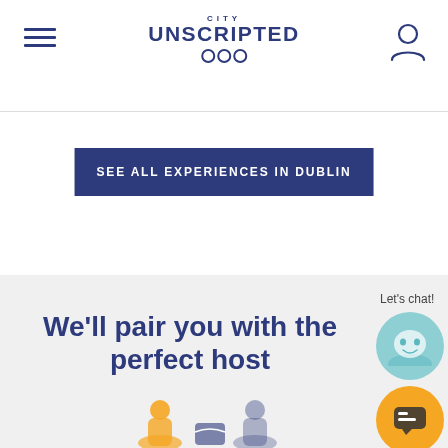City Unscripted
SEE ALL EXPERIENCES IN DUBLIN
We'll pair you with the perfect host